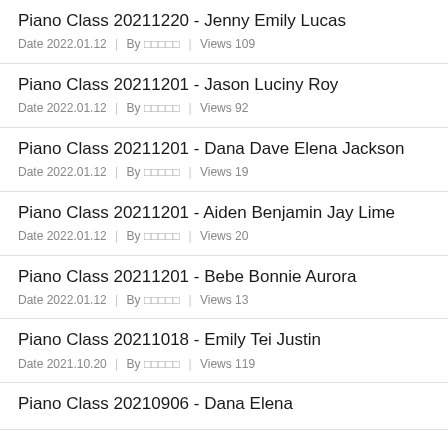Piano Class 20211220 - Jenny Emily Lucas
Date 2022.01.12 | By ????? | Views 109
Piano Class 20211201 - Jason Luciny Roy
Date 2022.01.12 | By ????? | Views 92
Piano Class 20211201 - Dana Dave Elena Jackson
Date 2022.01.12 | By ????? | Views 19
Piano Class 20211201 - Aiden Benjamin Jay Lime
Date 2022.01.12 | By ????? | Views 20
Piano Class 20211201 - Bebe Bonnie Aurora
Date 2022.01.12 | By ????? | Views 13
Piano Class 20211018 - Emily Tei Justin
Date 2021.10.20 | By ????? | Views 119
Piano Class 20210906 - Dana Elena